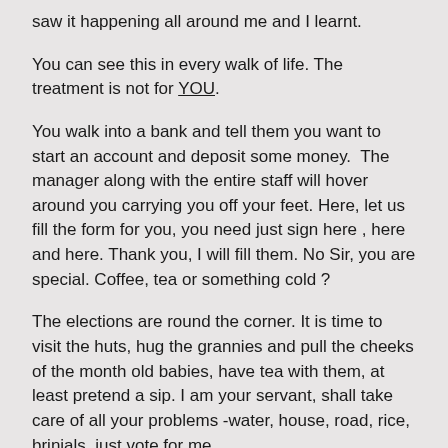saw it happening all around me and I learnt.
You can see this in every walk of life. The treatment is not for YOU.
You walk into a bank and tell them you want to start an account and deposit some money.  The manager along with the entire staff will hover around you carrying you off your feet. Here, let us fill the form for you, you need just sign here , here and here. Thank you, I will fill them. No Sir, you are special. Coffee, tea or something cold ?
The elections are round the corner. It is time to visit the huts, hug the grannies and pull the cheeks of the month old babies, have tea with them, at least pretend a sip. I am your servant, shall take care of all your problems -water, house, road, rice, brinjals, just vote for me.